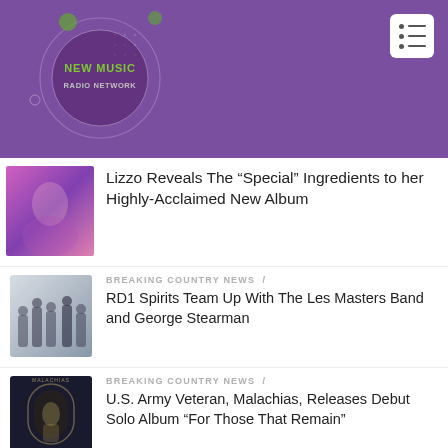[Figure (logo): New Music Radio Network logo — circular emblem with green 'NEW MUSIC' and grey 'RADIO NETWORK' text on purple background with decorative circles]
[Figure (screenshot): Hamburger/list menu icon button top-right corner]
[Figure (photo): Thumbnail photo of Lizzo, pink/purple tones]
Lizzo Reveals The “Special” Ingredients to her Highly-Acclaimed New Album
[Figure (photo): Thumbnail photo of band group (Les Masters Band)]
BREAKING COUNTRY NEWS /
RD1 Spirits Team Up With The Les Masters Band and George Stearman
[Figure (photo): Thumbnail of Malachias album cover 'For Those That Remain']
BREAKING COUNTRY NEWS /
U.S. Army Veteran, Malachias, Releases Debut Solo Album “For Those That Remain”